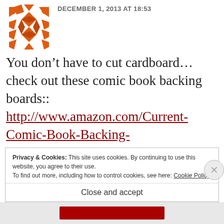[Figure (logo): Orange geometric quilt-pattern avatar icon, abstract star/diamond pattern in orange]
DECEMBER 1, 2013 AT 18:53
You don’t have to cut cardboard… check out these comic book backing boards:: http://www.amazon.com/Current-Comic-Book-Backing-Boards/dp/B003ZUK2J6. I use these for my fabric, and they are cost-effective at $10-$15 for 100 boards. You can
Privacy & Cookies: This site uses cookies. By continuing to use this website, you agree to their use.
To find out more, including how to control cookies, see here: Cookie Policy
Close and accept